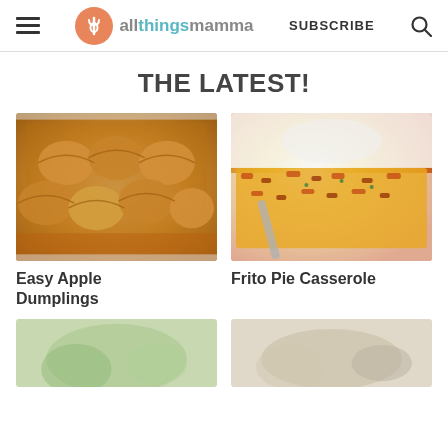allthingsmamma | SUBSCRIBE
THE LATEST!
[Figure (photo): Close-up of Easy Apple Dumplings in a baking dish — golden brown crescent roll dumplings in orange-colored sauce]
Easy Apple Dumplings
[Figure (photo): Frito Pie Casserole in a white baking dish being spooned out — cheesy macaroni casserole with corn chips topping]
Frito Pie Casserole
[Figure (photo): Partial view of a dish at bottom left — green-tinted food, partially cropped]
[Figure (photo): Partial view of a dish at bottom right — light colored food, partially cropped]